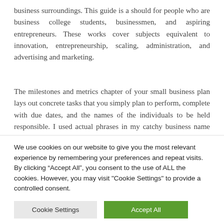business surroundings. This guide is a should for people who are business college students, businessmen, and aspiring entrepreneurs. These works cover subjects equivalent to innovation, entrepreneurship, scaling, administration, and advertising and marketing.
The milestones and metrics chapter of your small business plan lays out concrete tasks that you simply plan to perform, complete with due dates, and the names of the individuals to be held responsible. I used actual phrases in my catchy business name concepts because it is onerous to paint a
We use cookies on our website to give you the most relevant experience by remembering your preferences and repeat visits. By clicking “Accept All”, you consent to the use of ALL the cookies. However, you may visit "Cookie Settings" to provide a controlled consent.